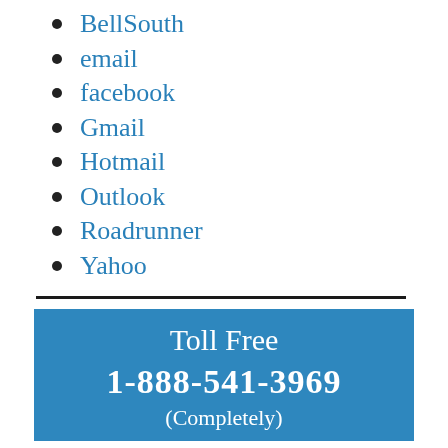BellSouth
email
facebook
Gmail
Hotmail
Outlook
Roadrunner
Yahoo
Toll Free
1-888-541-3969
(Completely)